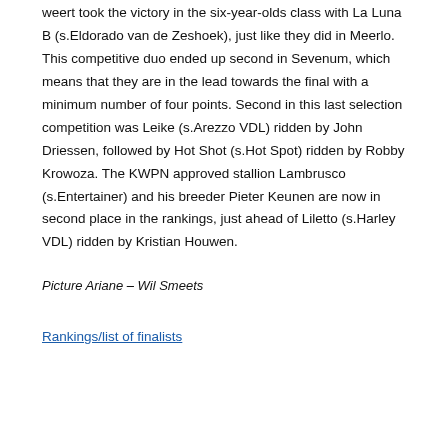weert took the victory in the six-year-olds class with La Luna B (s.Eldorado van de Zeshoek), just like they did in Meerlo. This competitive duo ended up second in Sevenum, which means that they are in the lead towards the final with a minimum number of four points. Second in this last selection competition was Leike (s.Arezzo VDL) ridden by John Driessen, followed by Hot Shot (s.Hot Spot) ridden by Robby Krowoza. The KWPN approved stallion Lambrusco (s.Entertainer) and his breeder Pieter Keunen are now in second place in the rankings, just ahead of Liletto (s.Harley VDL) ridden by Kristian Houwen.
Picture Ariane – Wil Smeets
Rankings/list of finalists